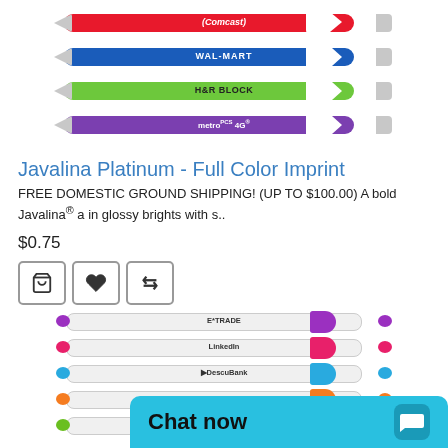[Figure (photo): Four colored ballpoint pens stacked vertically: red (Comcast), blue (WAL-MART), green (H&R BLOCK), purple (metro PCS 4G)]
Javalina Platinum - Full Color Imprint
FREE DOMESTIC GROUND SHIPPING! (UP TO $100.00) A bold Javalina® a in glossy brights with s..
$0.75
[Figure (illustration): Three icon buttons: shopping cart, heart/favorite, compare arrows]
[Figure (photo): Five white ballpoint pens stacked vertically with colored accents: purple (E*TRADE), pink (Linkedin), blue (DescuBank), orange (unknown), green (Renaissance)]
Chat now